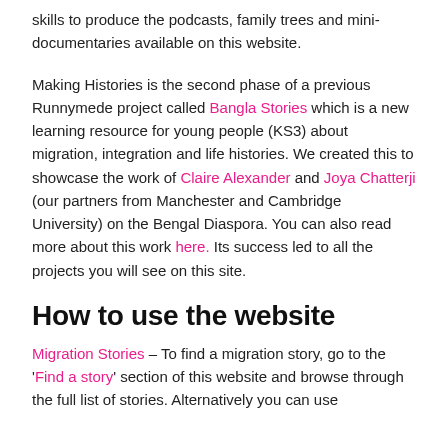skills to produce the podcasts, family trees and mini-documentaries available on this website.
Making Histories is the second phase of a previous Runnymede project called Bangla Stories which is a new learning resource for young people (KS3) about migration, integration and life histories. We created this to showcase the work of Claire Alexander and Joya Chatterji (our partners from Manchester and Cambridge University) on the Bengal Diaspora. You can also read more about this work here. Its success led to all the projects you will see on this site.
How to use the website
Migration Stories – To find a migration story, go to the 'Find a story' section of this website and browse through the full list of stories. Alternatively you can use